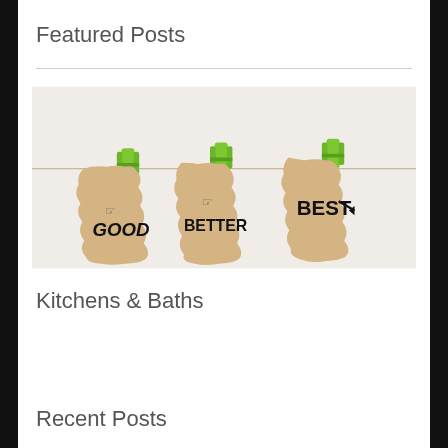Featured Posts
[Figure (photo): Three kraft paper tags hanging on a clothesline with green clothespins, labeled GOOD, BETTER, and BEST with arrow pointing right]
Kitchens & Baths
Recent Posts